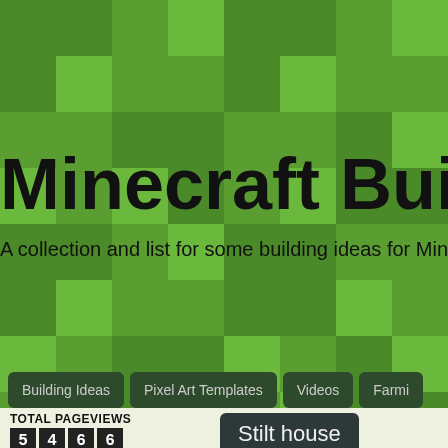[Figure (illustration): Minecraft-style pixel/checker pattern background in shades of green, simulating grass blocks from the game Minecraft]
Minecraft Building
A collection and list for some building ideas for Minecraft o
Building Ideas
Pixel Art Templates
Videos
Farmi
TOTAL PAGEVIEWS
5 4 6 6
Stilt house